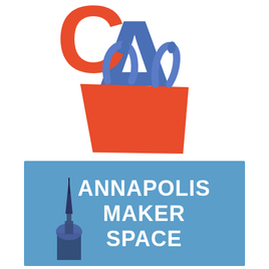[Figure (logo): CA shopping bag logo: large blue letter A with red C overlapping at top, below which is an orange/red trapezoid shopping bag shape with blue handles, forming a stylized 'CA' logo]
[Figure (logo): Annapolis Maker Space logo: blue rectangular background with white bold text reading ANNAPOLIS MAKER SPACE, with a stylized dark illustration of the Maryland State House dome/steeple on the left side]